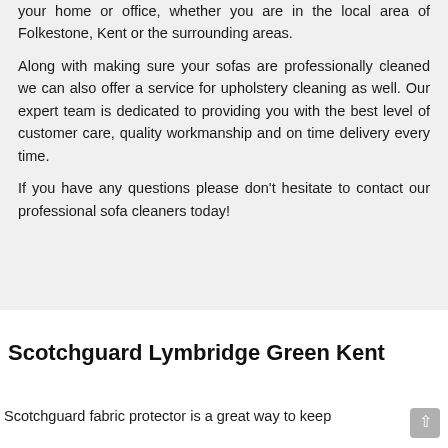your home or office, whether you are in the local area of Folkestone, Kent or the surrounding areas.
Along with making sure your sofas are professionally cleaned we can also offer a service for upholstery cleaning as well. Our expert team is dedicated to providing you with the best level of customer care, quality workmanship and on time delivery every time.
If you have any questions please don’t hesitate to contact our professional sofa cleaners today!
Scotchguard Lymbridge Green Kent
Scotchguard fabric protector is a great way to keep